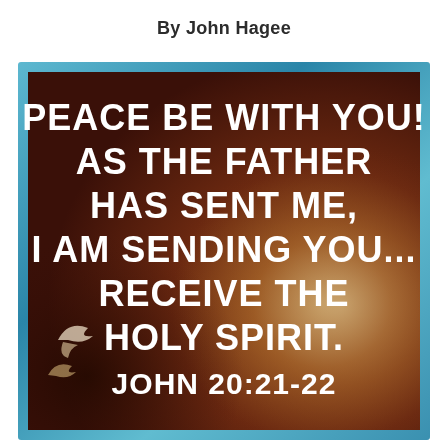By John Hagee
[Figure (illustration): Dark reddish-brown background image with a dove/bird figure visible in the lower left, and smoky cloud-like texture on the right. Large white bold text overlaid reading: PEACE BE WITH YOU! AS THE FATHER HAS SENT ME, I AM SENDING YOU... RECEIVE THE HOLY SPIRIT. JOHN 20:21-22. The image is surrounded by a blue-teal frame/border.]